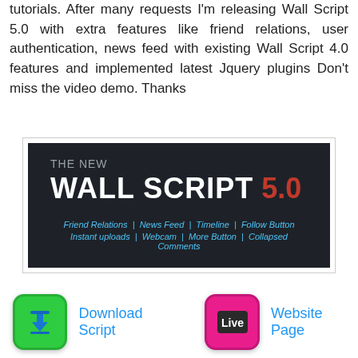tutorials. After many requests I'm releasing Wall Script 5.0 with extra features like friend relations, user authentication, news feed with existing Wall Script 4.0 features and implemented latest Jquery plugins Don't miss the video demo. Thanks
[Figure (screenshot): Banner for Wall Script 5.0 showing dark background with text 'THE NEW WALL SCRIPT 5.0' and feature list: Friend Relations | News Feed | Timeline | Follow Button, Instant uploads | Webcam | More Button | Collapsed Comments]
[Figure (other): Download Script button with green rounded icon containing a blue download arrow]
[Figure (other): Website Page button with pink rounded icon containing 'Live' text]